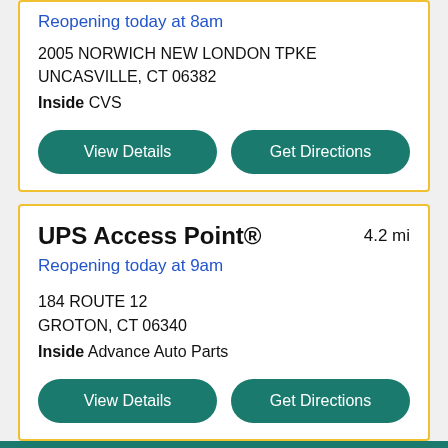Reopening today at 8am
2005 NORWICH NEW LONDON TPKE
UNCASVILLE, CT 06382
Inside CVS
View Details
Get Directions
UPS Access Point®
4.2 mi
Reopening today at 9am
184 ROUTE 12
GROTON, CT 06340
Inside Advance Auto Parts
View Details
Get Directions
Directions	View on Map